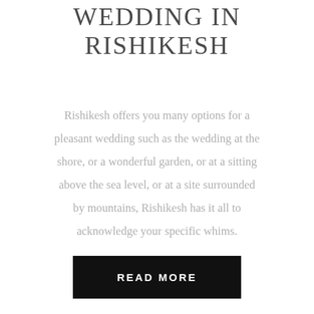WEDDING IN RISHIKESH
Rishikesh offers you many options for a pleasant wedding such as the wedding at the shore, or a wonderful garden, or at a sitting above the sea level, or at a site surrounded by mountains, Rishikesh has it all to acknowledge your specific whims.
READ MORE